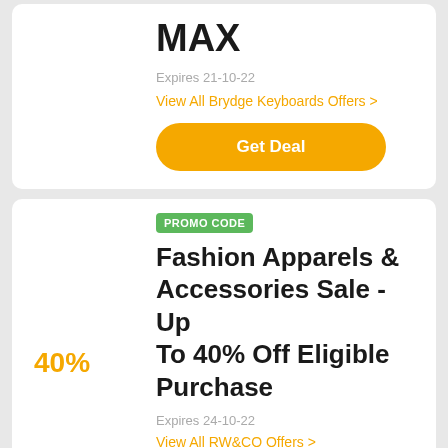MAX
Expires 21-10-22
View All Brydge Keyboards Offers >
Get Deal
PROMO CODE
Fashion Apparels & Accessories Sale - Up To 40% Off Eligible Purchase
40%
Expires 24-10-22
View All RW&CO Offers >
Get Code